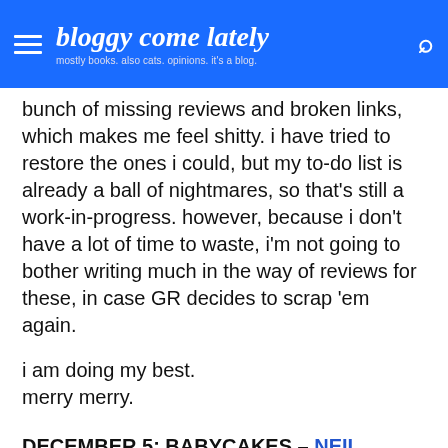bloggy come lately — mostly books. also cats. opinions. it's a blog.
bunch of missing reviews and broken links, which makes me feel shitty. i have tried to restore the ones i could, but my to-do list is already a ball of nightmares, so that's still a work-in-progress. however, because i don't have a lot of time to waste, i'm not going to bother writing much in the way of reviews for these, in case GR decides to scrap 'em again.
i am doing my best.
merry merry.
DECEMBER 5: BABYCAKES – NEIL GAIMAN
…we'll think of something.

Humans are smart.

It's what makes us superior to the animals